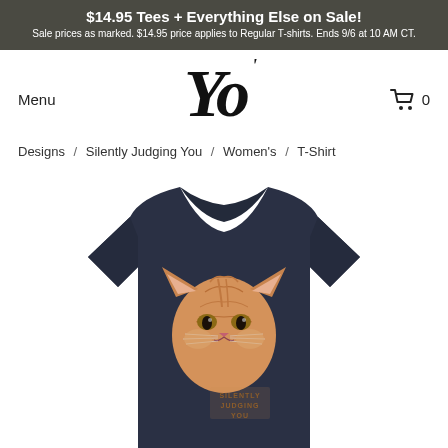$14.95 Tees + Everything Else on Sale! Sale prices as marked. $14.95 price applies to Regular T-shirts. Ends 9/6 at 10 AM CT.
Menu
[Figure (logo): Stylized cursive script logo reading 'Yo' in bold italic black text]
0
Designs / Silently Judging You / Women's / T-Shirt
[Figure (photo): Navy blue women's fitted T-shirt with a graphic of an orange tabby cat face and text 'SILENTLY JUDGING YOU' printed on the chest area]